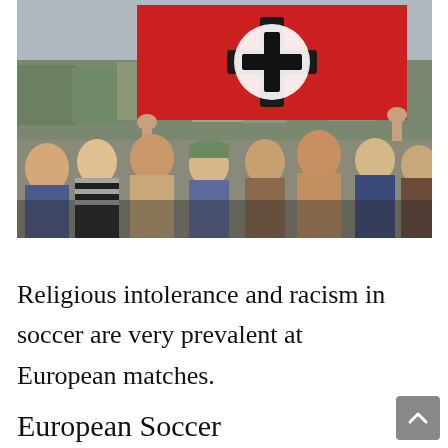[Figure (photo): Crowd of soccer fans at a European match, with a large red flag with a dark symbol being held up above the crowd. Multiple people visible, some shirtless, in stadium setting.]
Religious intolerance and racism in soccer are very prevalent at European matches.
European Soccer